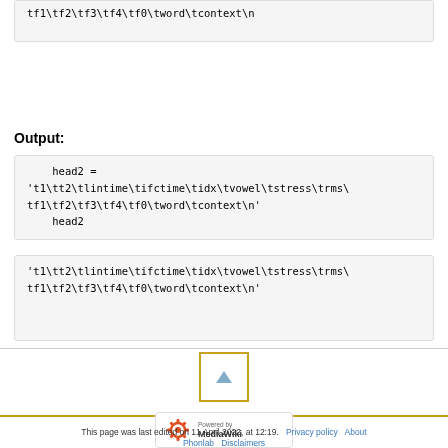tf1\tf2\tf3\tf4\tf0\tword\tcontext\n
head2 = 't1\tt2\tlintime\tifctime\tidx\tvowel\tstress\trms\tf1\tf2\tf3\tf4\tf0\tword\tcontext\n'
    head2
Output:
't1\tt2\tlintime\tifctime\tidx\tvowel\tstress\trms\tf1\tf2\tf3\tf4\tf0\tword\tcontext\n'
[Figure (other): Scroll to top button with upward triangle arrow, gold border]
[Figure (logo): Powered by MediaWiki badge]
This page was last edited on 11 April 2022, at 12:19. Privacy policy About Phonlab Disclaimers